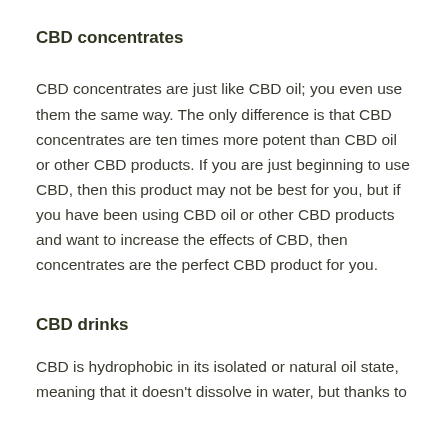CBD concentrates
CBD concentrates are just like CBD oil; you even use them the same way. The only difference is that CBD concentrates are ten times more potent than CBD oil or other CBD products. If you are just beginning to use CBD, then this product may not be best for you, but if you have been using CBD oil or other CBD products and want to increase the effects of CBD, then concentrates are the perfect CBD product for you.
CBD drinks
CBD is hydrophobic in its isolated or natural oil state, meaning that it doesn't dissolve in water, but thanks to